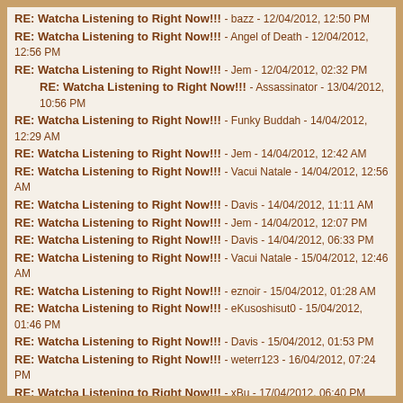RE: Watcha Listening to Right Now!!! - bazz - 12/04/2012, 12:50 PM
RE: Watcha Listening to Right Now!!! - Angel of Death - 12/04/2012, 12:56 PM
RE: Watcha Listening to Right Now!!! - Jem - 12/04/2012, 02:32 PM
RE: Watcha Listening to Right Now!!! - Assassinator - 13/04/2012, 10:56 PM
RE: Watcha Listening to Right Now!!! - Funky Buddah - 14/04/2012, 12:29 AM
RE: Watcha Listening to Right Now!!! - Jem - 14/04/2012, 12:42 AM
RE: Watcha Listening to Right Now!!! - Vacui Natale - 14/04/2012, 12:56 AM
RE: Watcha Listening to Right Now!!! - Davis - 14/04/2012, 11:11 AM
RE: Watcha Listening to Right Now!!! - Jem - 14/04/2012, 12:07 PM
RE: Watcha Listening to Right Now!!! - Davis - 14/04/2012, 06:33 PM
RE: Watcha Listening to Right Now!!! - Vacui Natale - 15/04/2012, 12:46 AM
RE: Watcha Listening to Right Now!!! - eznoir - 15/04/2012, 01:28 AM
RE: Watcha Listening to Right Now!!! - eKusoshisut0 - 15/04/2012, 01:46 PM
RE: Watcha Listening to Right Now!!! - Davis - 15/04/2012, 01:53 PM
RE: Watcha Listening to Right Now!!! - weterr123 - 16/04/2012, 07:24 PM
RE: Watcha Listening to Right Now!!! - xBu - 17/04/2012, 06:40 PM
RE: Watcha Listening to Right Now!!! - eKusoshisut0 - 17/04/2012, 06:43 PM